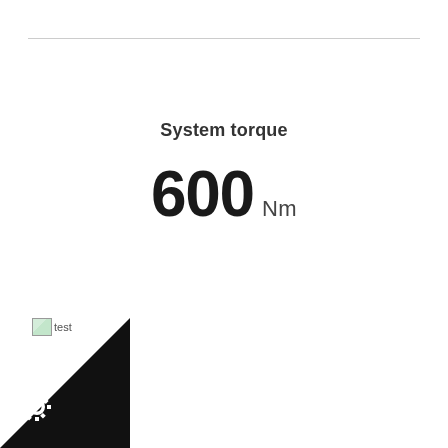System torque
600 Nm
[Figure (other): Broken image placeholder labeled 'test']
[Figure (logo): Black corner triangle badge with white gear/cog icon]